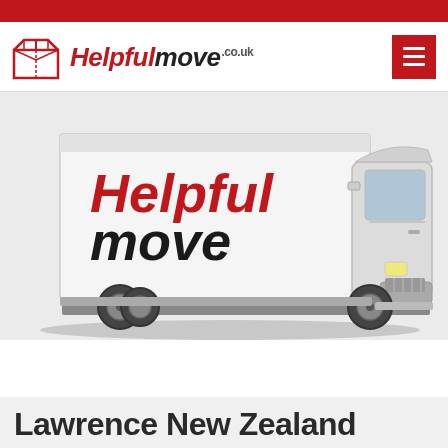[Figure (logo): Helpfulmove.co.uk logo with red box icon and italic text]
[Figure (photo): A white moving truck with 'Helpfulmove' branding in red and black on the side panel, photographed against a light background]
Lawrence New Zealand